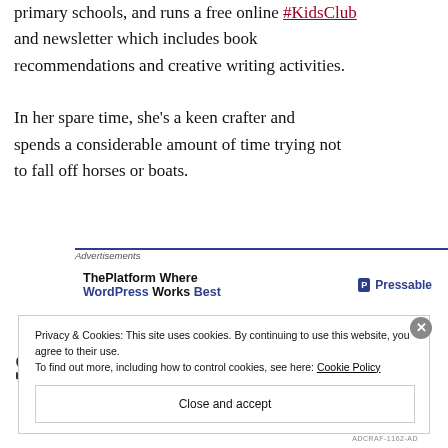primary schools, and runs a free online #KidsClub and newsletter which includes book recommendations and creative writing activities.
In her spare time, she's a keen crafter and spends a considerable amount of time trying not to fall off horses or boats.
[Figure (other): Advertisement banner: 'ThePlatform Where WordPress Works Best' with Pressable logo]
Privacy & Cookies: This site uses cookies. By continuing to use this website, you agree to their use. To find out more, including how to control cookies, see here: Cookie Policy
Close and accept